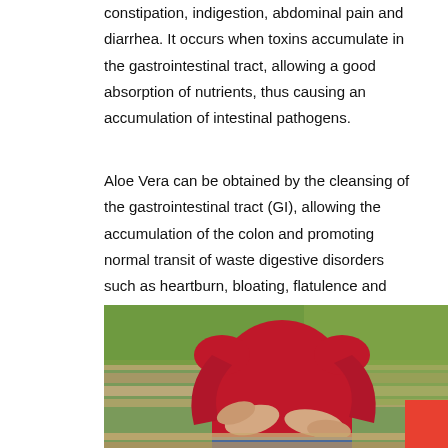constipation, indigestion, abdominal pain and diarrhea. It occurs when toxins accumulate in the gastrointestinal tract, allowing a good absorption of nutrients, thus causing an accumulation of intestinal pathogens.
Aloe Vera can be obtained by the cleansing of the gastrointestinal tract (GI), allowing the accumulation of the colon and promoting normal transit of waste digestive disorders such as heartburn, bloating, flatulence and irritable bowel syndrome using the gut.
[Figure (photo): A person wearing a red top sitting on a bench outdoors, holding their abdomen with both hands as if experiencing stomach pain.]